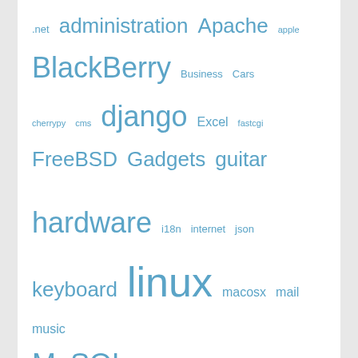.net administration Apache apple BlackBerry Business Cars cherrypy cms django Excel fastcgi FreeBSD Gadgets guitar hardware i18n internet json keyboard linux macosx mail music MySQL mysqldb network networking nunit Office php python review script setup SSL subversion tips tomcat unicode VmWare wallpapers wordpress xplanner zabbix
RSS - Posts
RSS - Comments
View Full Site
Proudly powered by WordPress